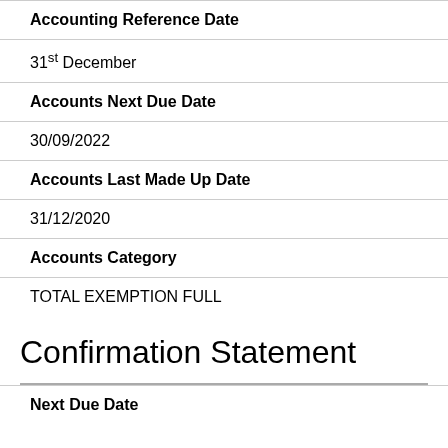Accounting Reference Date
31st December
Accounts Next Due Date
30/09/2022
Accounts Last Made Up Date
31/12/2020
Accounts Category
TOTAL EXEMPTION FULL
Confirmation Statement
Next Due Date